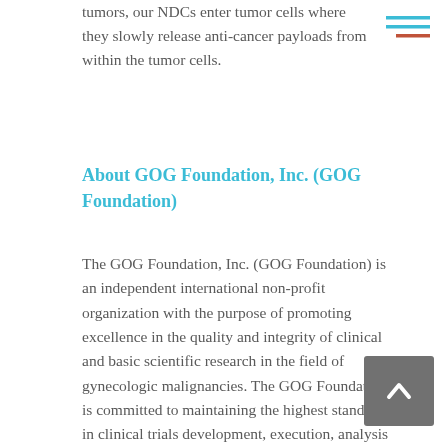tumors, our NDCs enter tumor cells where they slowly release anti-cancer payloads from within the tumor cells.
About GOG Foundation, Inc. (GOG Foundation)
The GOG Foundation, Inc. (GOG Foundation) is an independent international non-profit organization with the purpose of promoting excellence in the quality and integrity of clinical and basic scientific research in the field of gynecologic malignancies. The GOG Foundation is committed to maintaining the highest standards in clinical trials development, execution, analysis and distribution of results. Continuous evaluation of the GOG Foundation's processes is utilized in order to constantly improve the quality of patient care. The GOG Foundation conducts clinical trials for patients